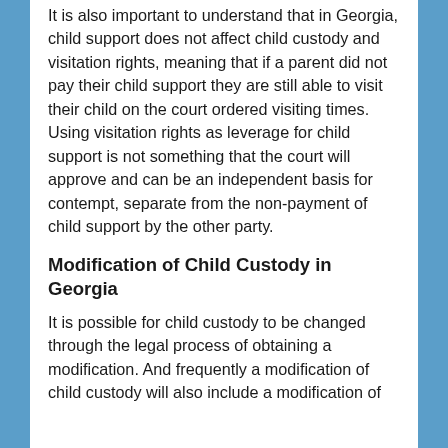It is also important to understand that in Georgia, child support does not affect child custody and visitation rights, meaning that if a parent did not pay their child support they are still able to visit their child on the court ordered visiting times. Using visitation rights as leverage for child support is not something that the court will approve and can be an independent basis for contempt, separate from the non-payment of child support by the other party.
Modification of Child Custody in Georgia
It is possible for child custody to be changed through the legal process of obtaining a modification. And frequently a modification of child custody will also include a modification of